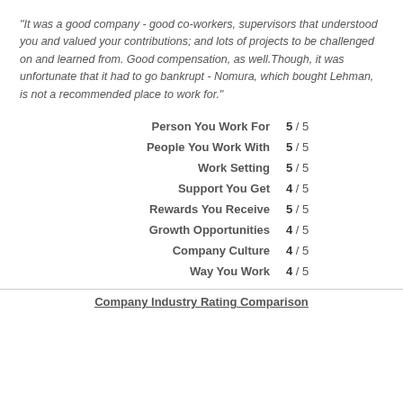"It was a good company - good co-workers, supervisors that understood you and valued your contributions; and lots of projects to be challenged on and learned from. Good compensation, as well.Though, it was unfortunate that it had to go bankrupt - Nomura, which bought Lehman, is not a recommended place to work for."
Person You Work For  5 / 5
People You Work With  5 / 5
Work Setting  5 / 5
Support You Get  4 / 5
Rewards You Receive  5 / 5
Growth Opportunities  4 / 5
Company Culture  4 / 5
Way You Work  4 / 5
Company Industry Rating Comparison